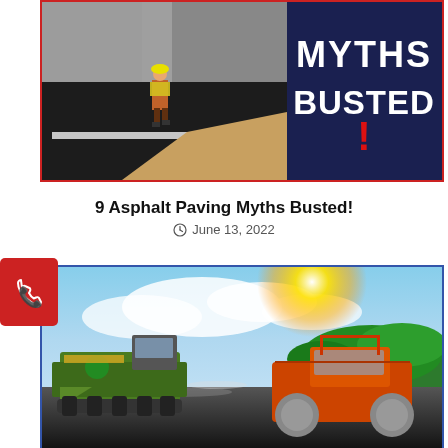[Figure (photo): Asphalt paving worker on dark asphalt surface with 'Myths Busted!' text overlay on dark blue background]
9 Asphalt Paving Myths Busted!
June 13, 2022
[Figure (photo): Heavy paving equipment including an asphalt paver and road roller working on a road under a bright sunny sky with green trees in background]